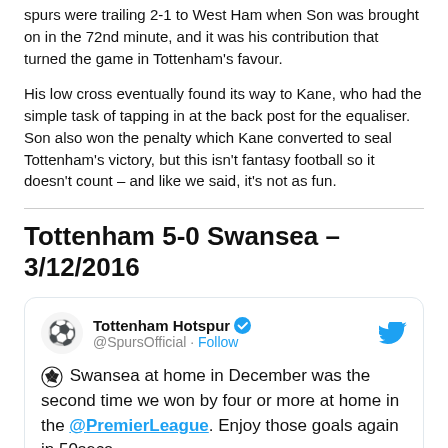spurs were trailing 2-1 to West Ham when Son was brought on in the 72nd minute, and it was his contribution that turned the game in Tottenham's favour.
His low cross eventually found its way to Kane, who had the simple task of tapping in at the back post for the equaliser. Son also won the penalty which Kane converted to seal Tottenham's victory, but this isn't fantasy football so it doesn't count – and like we said, it's not as fun.
Tottenham 5-0 Swansea – 3/12/2016
[Figure (screenshot): Tweet from Tottenham Hotspur official Twitter account (@SpursOfficial) with verified badge and Follow link. Tweet reads: [soccer ball emoji] Swansea at home in December was the second time we won by four or more at home in the @PremierLeague. Enjoy those goals again in 50secs.]